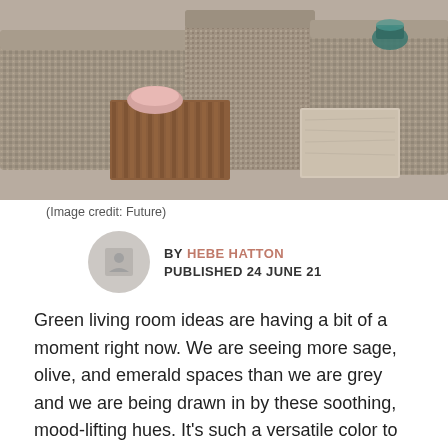[Figure (photo): Indoor furniture photo showing patterned sofas/ottomans with decorative coffee tables including a wooden slatted table and a travertine stone table]
(Image credit: Future)
BY HEBE HATTON
PUBLISHED 24 JUNE 21
Green living room ideas are having a bit of a moment right now. We are seeing more sage, olive, and emerald spaces than we are grey and we are being drawn in by these soothing, mood-lifting hues. It's such a versatile color to go for too, with so many different shades on offer and so many different color pairings that will work. But what green to choose?